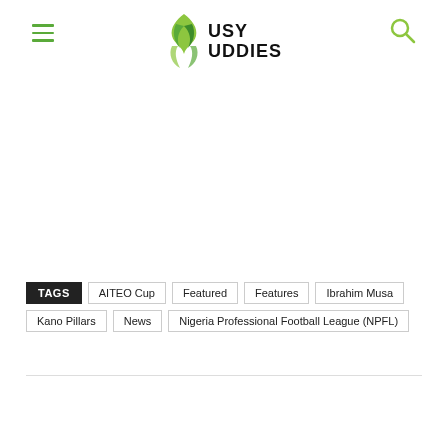Busy Buddies
TAGS  AITEO Cup  Featured  Features  Ibrahim Musa  Kano Pillars  News  Nigeria Professional Football League (NPFL)
Like 9